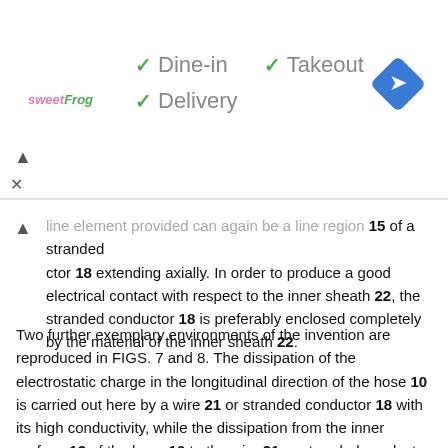[Figure (screenshot): Advertisement banner showing sweetFrog logo with checkmarks for Dine-in, Takeout, and Delivery options, plus a navigation arrow icon]
line element provided can again be a line region 15 of a stranded conductor 18 extending axially. In order to produce a good electrical contact with respect to the inner sheath 22, the stranded conductor 18 is preferably enclosed completely by the material of the inner sheath 22.
Two further exemplary environments of the invention are reproduced in FIGS. 7 and 8. The dissipation of the electrostatic charge in the longitudinal direction of the hose 10 is carried out here by a wire 21 or stranded conductor 18 with its high conductivity, while the dissipation from the inner surface 13 of the hose 10 to the wire 21 or stranded conductor 18 is carried out by a line region 23 or 24 which surrounds the wire 21 or stranded conductor 18 and adjoins the interior 14 of the hose. In the exemplary embodiment of FIG. 7, the line region 23 surrounds the wire 21 or stranded conductor 18 concentrically and reaches the surface only in a closely delimited region of the inner surface 13. In the exemplary embodiment of FIG. 8, the line region 24 has a teardrop-shaped cross section with a tip which points radially inward and adjoins the interior 14. As a result of the closely delimited region of the inner surface 13 on which the line region 23, 24 meets the surface, the risk of caking of the powdery material conveyed